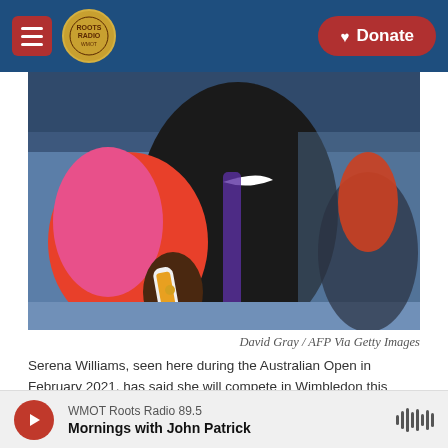Roots Radio | Donate
[Figure (photo): Close-up photo of Serena Williams holding a tennis racket, wearing a black Nike top and pink/red sleeve, during the Australian Open in February 2021.]
David Gray / AFP Via Getty Images
Serena Williams, seen here during the Australian Open in February 2021, has said she will compete in Wimbledon this month. Williams has not competed professionally since sustaining an injury at last year's Wimbledon tennis tournament.
Don't count Serena Williams out just yet. The 40-year-old is returning to Wimbledon this month as
WMOT Roots Radio 89.5 Mornings with John Patrick